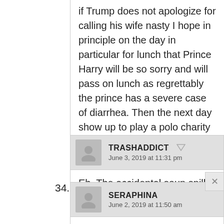if Trump does not apologize for calling his wife nasty I hope in principle on the day in particular for lunch that Prince Harry will be so sorry and will pass on lunch as regrettably the prince has a severe case of diarrhea. Then the next day show up to play a polo charity match.
TRASHADDICT
June 3, 2019 at 11:31 pm
Eh. The accidental soup spill is so much more satisfying. Particularly if it's quite hot and directly on the crotch.
34.
SERAPHINA
June 2, 2019 at 11:50 am
If I were Megs I would go just to one up him. Love to see his reaction. But I am glad she a very legit reason not to go.